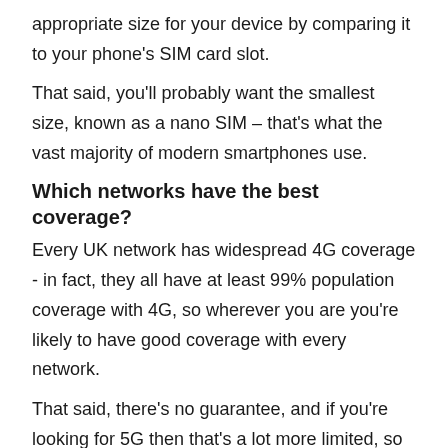appropriate size for your device by comparing it to your phone's SIM card slot.
That said, you'll probably want the smallest size, known as a nano SIM – that's what the vast majority of modern smartphones use.
Which networks have the best coverage?
Every UK network has widespread 4G coverage - in fact, they all have at least 99% population coverage with 4G, so wherever you are you're likely to have good coverage with every network.
That said, there's no guarantee, and if you're looking for 5G then that's a lot more limited, so we'd always recommend checking a network's coverage map to make sure it's available where you need it.